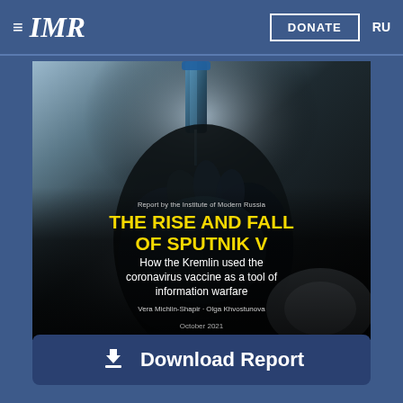≡ IMR   DONATE   RU
[Figure (photo): Book/report cover image showing a gloved hand holding a syringe/vial, with text overlay: 'Report by the Institute of Modern Russia — THE RISE AND FALL OF SPUTNIK V — How the Kremlin used the coronavirus vaccine as a tool of information warfare — Vera Michlin-Shapir · Olga Khvostunova — October 2021']
Download Report